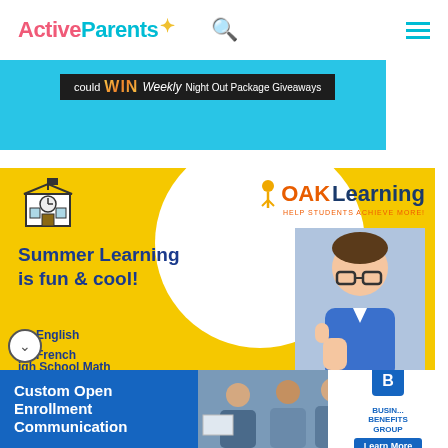Active Parents (logo) — search icon — hamburger menu
[Figure (screenshot): Blue banner advertisement showing 'could WIN Weekly Night Out Package Giveaways' text on dark background]
[Figure (screenshot): OAK Learning advertisement with yellow background, school icon, OAK Learning logo, and text: 'Summer Learning is fun & cool!' with bullet list: English, French, English + Math combo, igh School Math (partially visible). Photo of smiling boy with glasses giving thumbs up.]
[Figure (screenshot): Bottom advertisement banner: Custom Open Enrollment Communication — Business Benefits Group. Photo of professionals in meeting. Learn More button.]